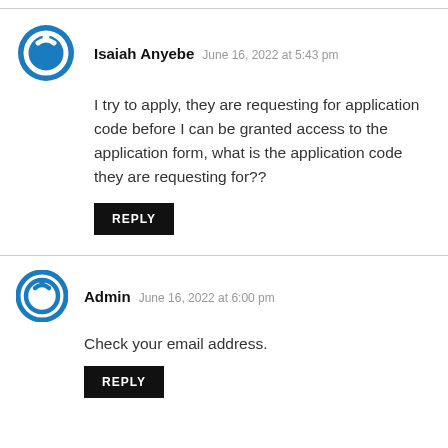Isaiah Anyebe  June 16, 2022 at 5:43 pm
I try to apply, they are requesting for application code before I can be granted access to the application form, what is the application code they are requesting for??
REPLY
Admin  June 16, 2022 at 6:00 pm
Check your email address.
REPLY